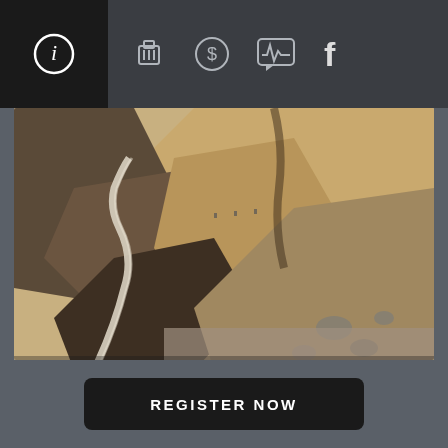Navigation bar with icons: info, luggage, dollar, chat/pulse, Facebook
[Figure (photo): Aerial view of a winding road through dramatic rocky canyon terrain in Ladakh, India. Barren brown and tan rock formations with a narrow paved road snaking through the gorge.]
TSOKAR TO LEH
DAY 5
Location: Leh, Himachal Pradesh, India
REGISTER NOW